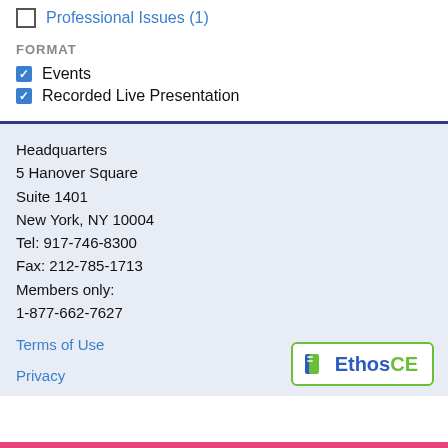Professional Issues (1)
FORMAT
Events
Recorded Live Presentation
Headquarters
5 Hanover Square
Suite 1401
New York, NY 10004
Tel: 917-746-8300
Fax: 212-785-1713
Members only:
1-877-662-7627
Terms of Use
Privacy
[Figure (logo): EthosCE logo with green book icon, blue 'Ethos' and green 'CE' text, inside a green-bordered rounded rectangle]